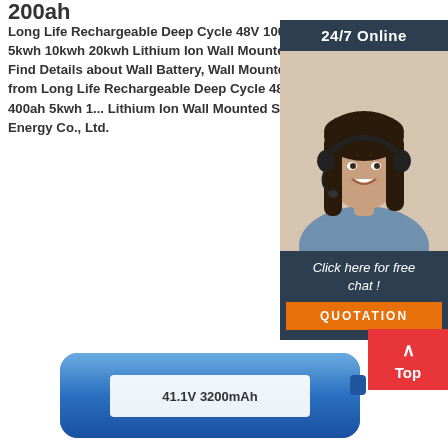200ah
Long Life Rechargeable Deep Cycle 48V 100ah 200ah 400ah 5kwh 10kwh 20kwh Lithium Ion Wall Mounted Solar Battery, Find Details about Wall Battery, Wall Mounted Battery Solar from Long Life Rechargeable Deep Cycle 48V 100ah 200ah 400ah 5kwh 1... Lithium Ion Wall Mounted Solar Battery - GSL Energy Co., Ltd.
[Figure (photo): Customer support agent: smiling woman with headset on dark blue background, with '24/7 Online' header, 'Click here for free chat!' text, and an orange QUOTATION button]
[Figure (photo): Blue battery product photo with label showing '41.1V 3200mAh']
[Figure (other): Red 'Top' back-to-top button with upward arrow]